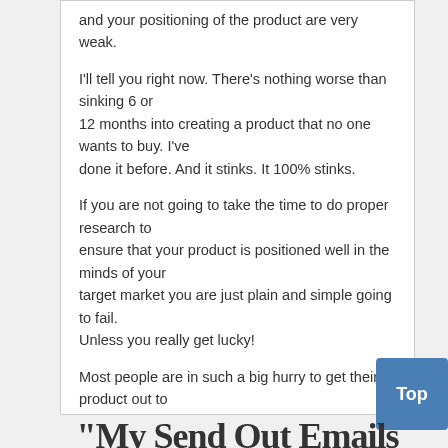and your positioning of the product are very weak.
I'll tell you right now. There's nothing worse than sinking 6 or 12 months into creating a product that no one wants to buy. I've done it before. And it stinks. It 100% stinks.
If you are not going to take the time to do proper research to ensure that your product is positioned well in the minds of your target market you are just plain and simple going to fail. Unless you really get lucky!
Most people are in such a big hurry to get their product out to the marketplace that they don't even stop
"My Send Out Emails"